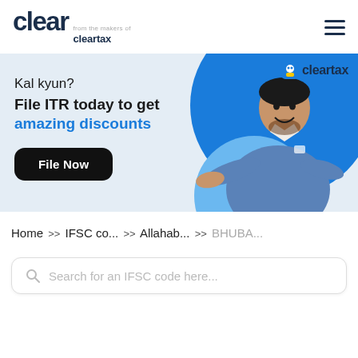[Figure (logo): Clear logo — 'clear' in large dark navy bold text, with small text 'from the makers of' above 'cleartax' to the right]
[Figure (infographic): ClearTax promotional banner with light blue background. Left side text: 'Kal kyun?' then 'File ITR today to get' in bold black, 'amazing discounts' in blue bold, and a black rounded 'File Now' button. Right side shows blue decorative circles and an illustrated person in a blue suit gesturing. Top right shows ClearTax robot icon and 'cleartax' brand name.]
Home >> IFSC co... >> Allahab... >> BHUBA...
Search for an IFSC code here...